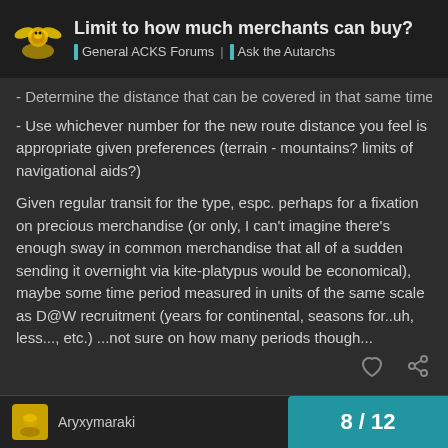Limit to how much merchants can buy? | General ACKS Forums | Ask the Autarchs
- Determine the distance that can be covered in that same time period by the new transit type
- Use whichever number for the new route distance you feel is appropriate given preferences (terrain - mountains? limits of navigational aids?)
Given regular transit for the type, espc. perhaps for a fixation on precious merchandise (or only, I can't imagine there's enough sway in common merchandise that all of a sudden sending it overnight via kite-platypus would be economical), maybe some time period measured in units of the same scale as D@W recruitment (years for continental, seasons for..uh, less..., etc.) ...not sure on how many periods though...
8 / 12
Aryxymaraki